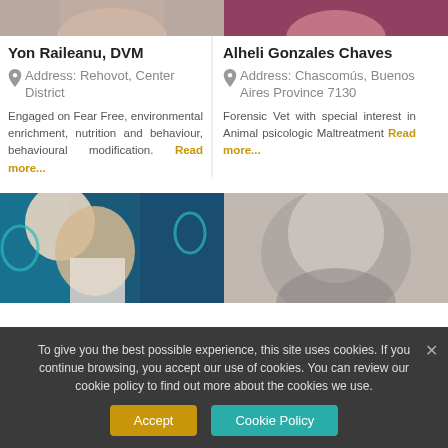[Figure (photo): Partial photo of Yon Raileanu, DVM (top cropped)]
[Figure (photo): Partial photo of Alheli Gonzales Chaves (top cropped, magenta/purple background)]
Yon Raileanu, DVM
Address: Rehovot, Center District
Engaged on Fear Free, environmental enrichment, nutrition and behaviour, behavioural modification. Read more...
Alheli Gonzales Chaves
Address: Chascomús, Buenos Aires Province 7130
Forensic Vet with special interest in Animal psicologic Maltreatment Read more...
[Figure (photo): Photo of a female veterinarian smiling, with teal/blue patterned background]
[Figure (photo): Black and white photo of a woman smiling]
To give you the best possible experience, this site uses cookies. If you continue browsing, you accept our use of cookies. You can review our cookie policy to find out more about the cookies we use.